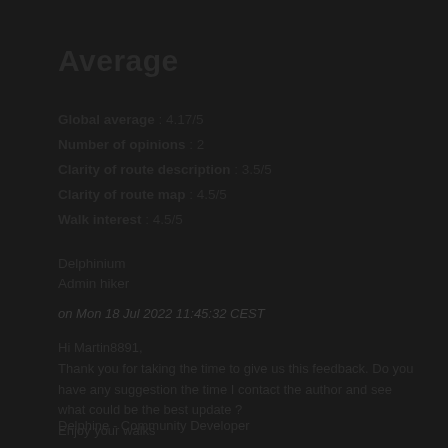Average
Global average : 4.17/5
Number of opinions : 2
Clarity of route description : 3.5/5
Clarity of route map : 4.5/5
Walk interest : 4.5/5
Delphinium
Admin hiker
on Mon 18 Jul 2022 11:45:32 CEST
Hi Martin8891,
Thank you for taking the time to give us this feedback. Do you have any suggestion the time I contact the author and see what could be the best update ?
Enjoy your walks
Delphine - Community Developer